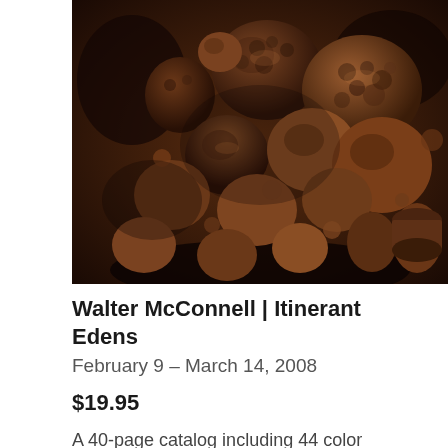[Figure (photo): Close-up photograph of various seeds, nuts, and botanical specimens in dark brown tones, arranged densely together filling the frame.]
Walter McConnell | Itinerant Edens
February 9 – March 14, 2008
$19.95
A 40-page catalog including 44 color photographs with an introduction by